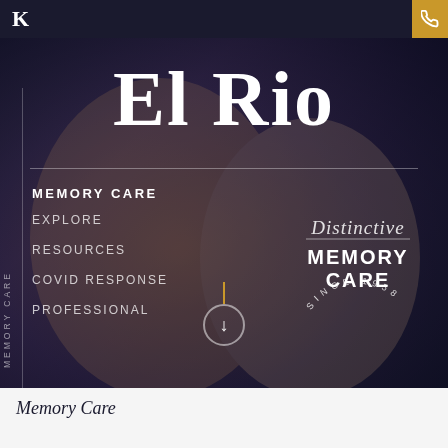El Rio — navigation bar with logo, hamburger menu, and phone button
El Rio
MEMORY CARE
EXPLORE
RESOURCES
COVID RESPONSE
PROFESSIONAL
MEMORY CARE
[Figure (logo): Distinctive Memory Care Since 1958 badge/seal with cursive script and circular text]
Memory Care (vertical side text)
Memory Care (bottom section partial heading)